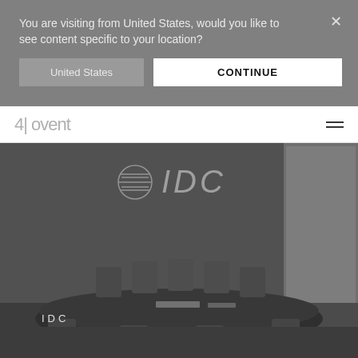You are visiting from United States, would you like to see content specific to your location?
United States
CONTINUE
4| ovent
[Figure (photo): Conference room with IDC logo on dark wall, meeting table with chairs, monochrome/dark tone photograph]
IDC